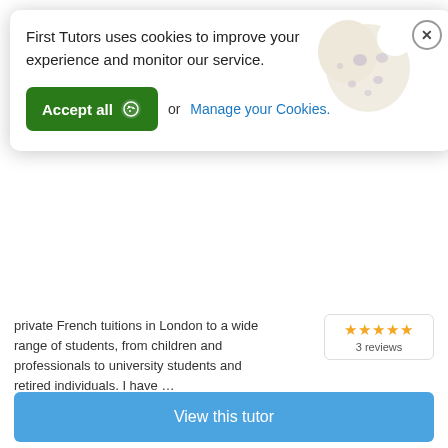[Figure (screenshot): Cookie consent banner with 'Accept all' green button and cookie illustration, overlaying a tutoring website page]
First Tutors uses cookies to improve your experience and monitor our service.
Accept all  or  Manage your Cookies.
private French tuitions in London to a wide range of students, from children and professionals to university students and retired individuals. I have …
3 reviews
View this tutor
Contact
Tower Hamlets
You can meet in person
You can learn online
Middle Eastern Studies (2018)
£30